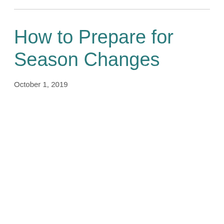How to Prepare for Season Changes
October 1, 2019